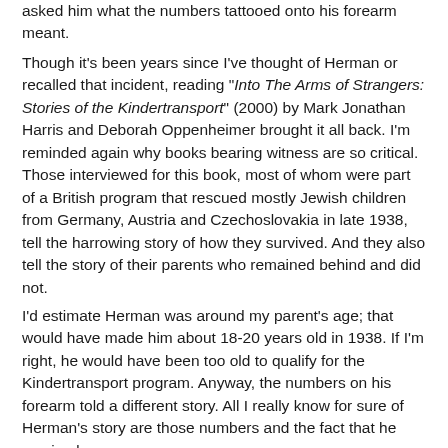asked him what the numbers tattooed onto his forearm meant.
Though it's been years since I've thought of Herman or recalled that incident, reading "Into The Arms of Strangers: Stories of the Kindertransport" (2000) by Mark Jonathan Harris and Deborah Oppenheimer brought it all back. I'm reminded again why books bearing witness are so critical. Those interviewed for this book, most of whom were part of a British program that rescued mostly Jewish children from Germany, Austria and Czechoslovakia in late 1938, tell the harrowing story of how they survived. And they also tell the story of their parents who remained behind and did not.
I'd estimate Herman was around my parent's age; that would have made him about 18-20 years old in 1938. If I'm right, he would have been too old to qualify for the Kindertransport program. Anyway, the numbers on his forearm told a different story. All I really know for sure of Herman's story are those numbers and the fact that he survived.